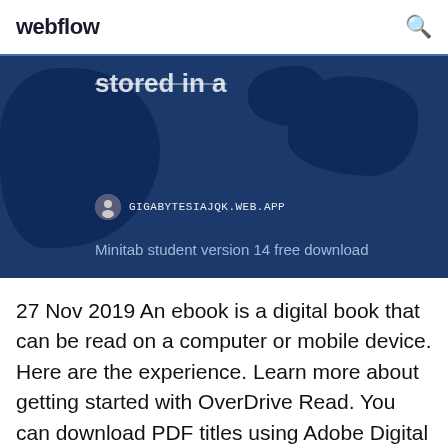webflow
[Figure (screenshot): Hero banner image showing a dark blue world map background with partial white text reading 'stored in a', a site badge showing a circular icon and 'GIGABYTESIAJQK.WEB.APP' in monospace, and subtitle text 'Minitab student version 14 free download']
27 Nov 2019 An ebook is a digital book that can be read on a computer or mobile device. Here are the experience. Learn more about getting started with OverDrive Read. You can download PDF titles using Adobe Digital Editions. Si is